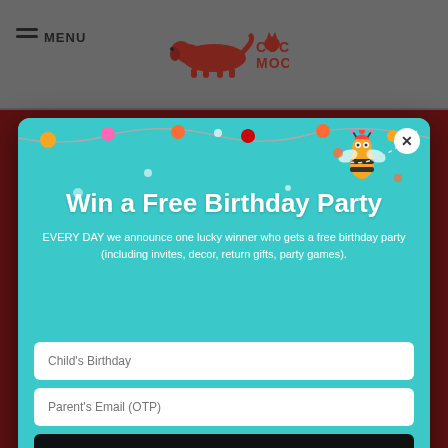[Figure (screenshot): Website header with hamburger menu icon, MENU text, and Coco Moco logo (red dog/cat illustration)]
Showing all 37 results
[Figure (infographic): Win a Free Birthday Party popup modal with teal background, bee illustration, party decorations, birthday cakes and gifts at bottom. Contains title, description, and form fields.]
Win a Free Birthday Party
EVERY DAY we announce one lucky winner who gets a free birthday party (including invites, decor, return gifts, party games).
Child's Birthday
Parent's Email (OTP)
Continue
Pay Any Amount
Contact us
Shop All